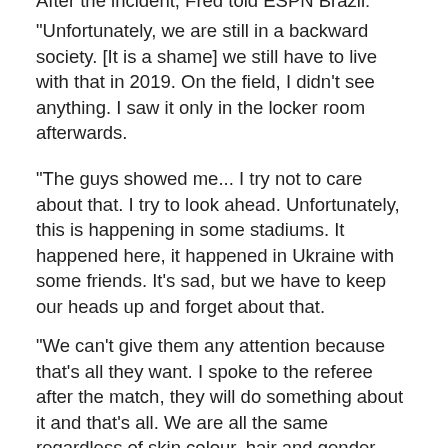After the incident, Fred told ESPN Brazil:
“Unfortunately, we are still in a backward society. [It is a shame] we still have to live with that in 2019. On the field, I didn’t see anything. I saw it only in the locker room afterwards.
“The guys showed me... I try not to care about that. I try to look ahead. Unfortunately, this is happening in some stadiums. It happened here, it happened in Ukraine with some friends. It’s sad, but we have to keep our heads up and forget about that.
“We can’t give them any attention because that’s all they want. I spoke to the referee after the match, they will do something about it and that’s all. We are all the same regardless of skin colour, hair and gender.
“We came from the same place and we all go to the same place when it’s all said and done. Thank God I have a lot of friends here in the locker room who